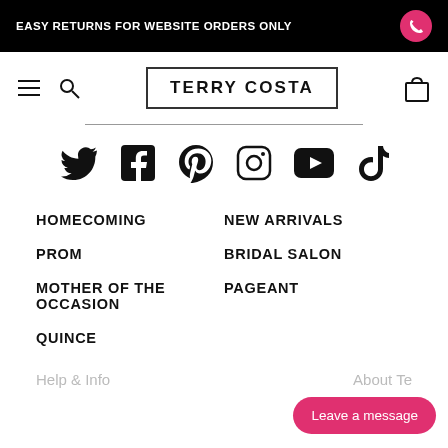EASY RETURNS FOR WEBSITE ORDERS ONLY
TERRY COSTA
[Figure (infographic): Social media icons row: Twitter, Facebook, Pinterest, Instagram, YouTube, TikTok]
HOMECOMING
NEW ARRIVALS
PROM
BRIDAL SALON
MOTHER OF THE OCCASION
PAGEANT
QUINCE
Help & Info
About Te
Leave a message